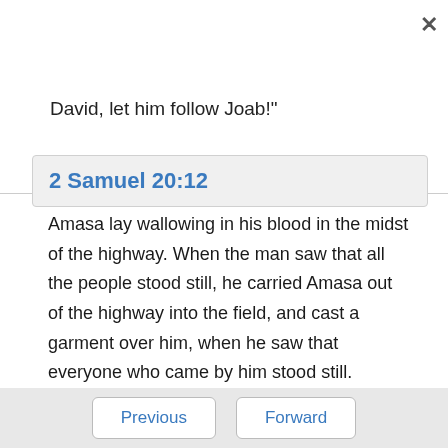David, let him follow Joab!"
2 Samuel 20:12
Amasa lay wallowing in his blood in the midst of the highway. When the man saw that all the people stood still, he carried Amasa out of the highway into the field, and cast a garment over him, when he saw that everyone who came by him stood still.
2 Samuel 20:13
Previous   Forward